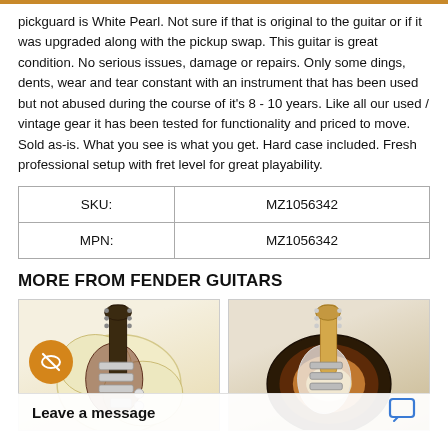pickguard is White Pearl. Not sure if that is original to the guitar or if it was upgraded along with the pickup swap. This guitar is great condition. No serious issues, damage or repairs. Only some dings, dents, wear and tear constant with an instrument that has been used but not abused during the course of it's 8 - 10 years. Like all our used / vintage gear it has been tested for functionality and priced to move. Sold as-is. What you see is what you get. Hard case included. Fresh professional setup with fret level for great playability.
| SKU: | MZ1056342 |
| --- | --- |
| MPN: | MZ1056342 |
MORE FROM FENDER GUITARS
[Figure (photo): Cream/vintage white Fender Stratocaster electric guitar with tortoiseshell pickguard]
[Figure (photo): Sunburst Fender Stratocaster electric guitar with maple neck]